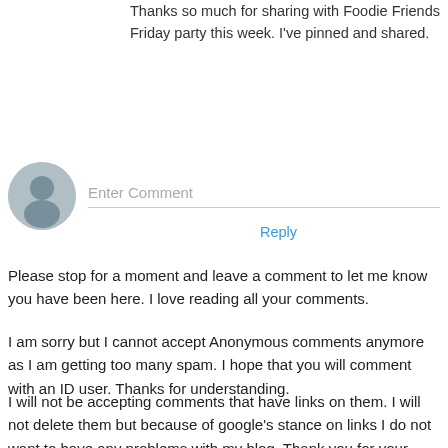Thanks so much for sharing with Foodie Friends Friday party this week. I've pinned and shared.
Reply
[Figure (other): User avatar placeholder circle with person silhouette icon, and an Enter Comment input field below]
Please stop for a moment and leave a comment to let me know you have been here. I love reading all your comments.
I am sorry but I cannot accept Anonymous comments anymore as I am getting too many spam. I hope that you will comment with an ID user. Thanks for understanding.
I will not be accepting comments that have links on them. I will not delete them but because of google's stance on links I do not want to have any problems with my blog. Thank you for your understanding.